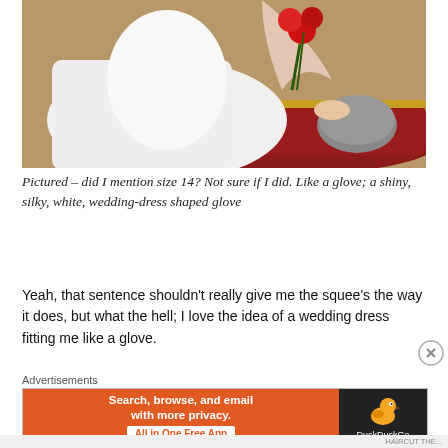[Figure (photo): A bride in a white wedding dress sitting on a red velvet chaise lounge, holding red roses and a grey pillow. The bride wears a veil and the dress is detailed with lace.]
Pictured – did I mention size 14? Not sure if I did. Like a glove; a shiny, silky, white, wedding-dress shaped glove
Yeah, that sentence shouldn't really give me the squee's the way it does, but what the hell; I love the idea of a wedding dress fitting me like a glove.
Advertisements
[Figure (screenshot): DuckDuckGo advertisement banner. Left side is orange with text 'Search, browse, and email with more privacy. All in One Free App'. Right side is dark with the DuckDuckGo duck logo and 'DuckDuckGo' text.]